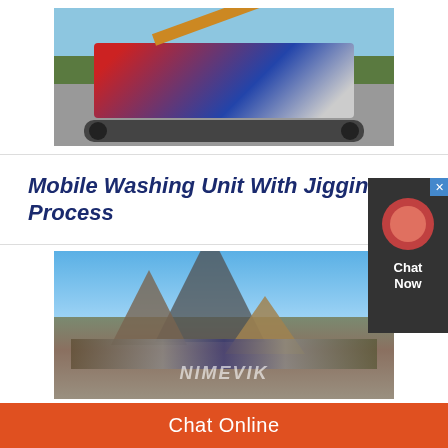[Figure (photo): Mobile crushing/processing machine on tracks parked on a road beside a green field]
Mobile Washing Unit With Jigging Process
[Figure (photo): Quarry site with stone aggregate pyramids, processing equipment, trees, and Nimevik branding text]
Chat Online